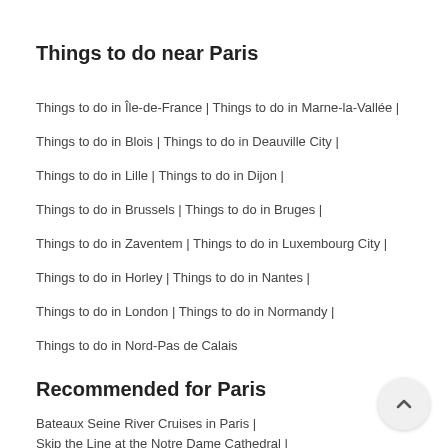Things to do near Paris
Things to do in Île-de-France | Things to do in Marne-la-Vallée |
Things to do in Blois | Things to do in Deauville City |
Things to do in Lille | Things to do in Dijon |
Things to do in Brussels | Things to do in Bruges |
Things to do in Zaventem | Things to do in Luxembourg City |
Things to do in Horley | Things to do in Nantes |
Things to do in London | Things to do in Normandy |
Things to do in Nord-Pas de Calais
Recommended for Paris
Bateaux Seine River Cruises in Paris |
Skip the Line at the Notre Dame Cathedral |